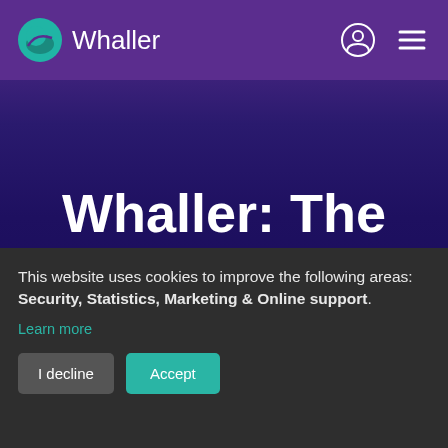Whaller
Whaller: The collaboration
This website uses cookies to improve the following areas: Security, Statistics, Marketing & Online support.
Learn more
I decline
Accept